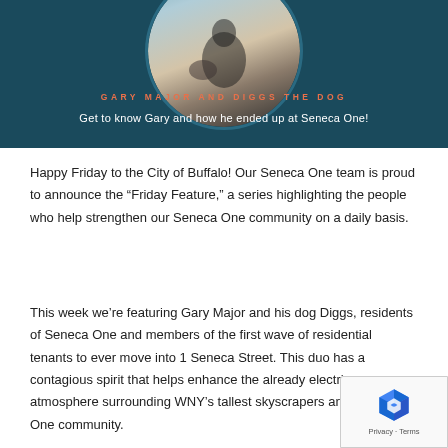[Figure (photo): Dark teal banner with a circular photo of a person walking a large dog (appears to be a husky or similar breed) on a leash. Person wearing dark pants and white shoes. Background is a light outdoor surface.]
GARY MAJOR AND DIGGS THE DOG
Get to know Gary and how he ended up at Seneca One!
Happy Friday to the City of Buffalo! Our Seneca One team is proud to announce the “Friday Feature,” a series highlighting the people who help strengthen our Seneca One community on a daily basis.
This week we’re featuring Gary Major and his dog Diggs, residents of Seneca One and members of the first wave of residential tenants to ever move into 1 Seneca Street. This duo has a contagious spirit that helps enhance the already electric atmosphere surrounding WNY’s tallest skyscrapers and Seneca One community.